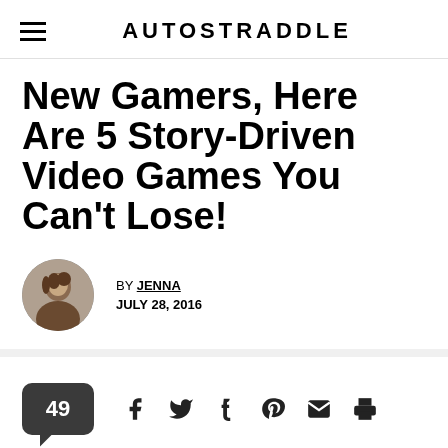AUTOSTRADDLE
New Gamers, Here Are 5 Story-Driven Video Games You Can't Lose!
BY JENNA
JULY 28, 2016
49 [social share icons: Facebook, Twitter, Tumblr, Pinterest, Email, Print]